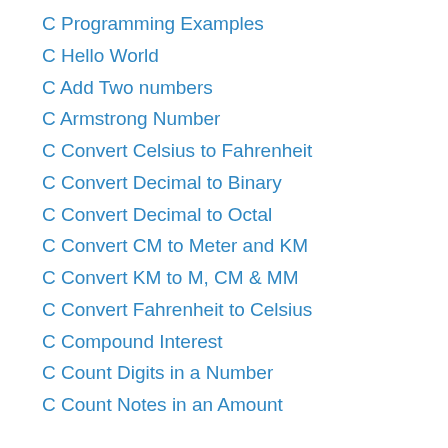C Programming Examples
C Hello World
C Add Two numbers
C Armstrong Number
C Convert Celsius to Fahrenheit
C Convert Decimal to Binary
C Convert Decimal to Octal
C Convert CM to Meter and KM
C Convert KM to M, CM & MM
C Convert Fahrenheit to Celsius
C Compound Interest
C Count Digits in a Number
C Count Notes in an Amount